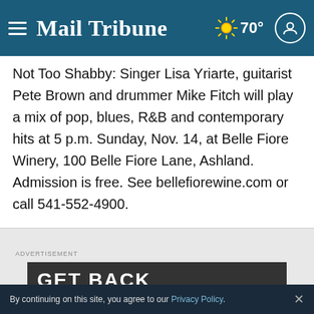Mail Tribune  ☀ 70°
Not Too Shabby: Singer Lisa Yriarte, guitarist Pete Brown and drummer Mike Fitch will play a mix of pop, blues, R&B and contemporary hits at 5 p.m. Sunday, Nov. 14, at Belle Fiore Winery, 100 Belle Fiore Lane, Ashland. Admission is free. See bellefiorewine.com or call 541-552-4900.
ADVERTISEMENT
[Figure (screenshot): GET BACK advertisement banner]
By continuing on this site, you agree to our Privacy Policy.